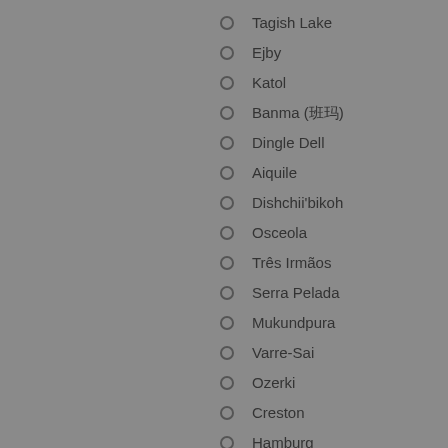Tagish Lake
Ejby
Katol
Banma (班玛)
Dingle Dell
Aiquile
Dishchii'bikoh
Osceola
Três Irmãos
Serra Pelada
Mukundpura
Varre-Sai
Ozerki
Creston
Hamburg
Komaki
Viñales
Mangui